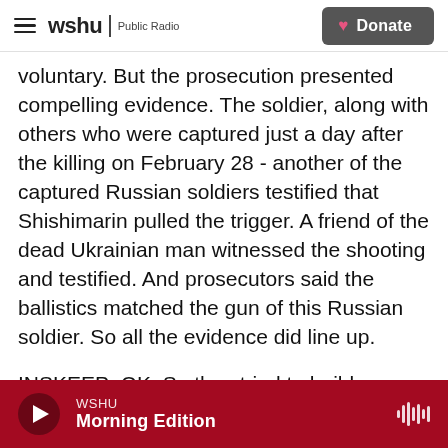wshu | Public Radio  Donate
voluntary. But the prosecution presented compelling evidence. The soldier, along with others who were captured just a day after the killing on February 28 - another of the captured Russian soldiers testified that Shishimarin pulled the trigger. A friend of the dead Ukrainian man witnessed the shooting and testified. And prosecutors said the ballistics matched the gun of this Russian soldier. So all the evidence did line up.
INSKEEP: OK. So they tried to build a case the way that you would in a non-war environment. What other testimony did you hear? And what other
WSHU  Morning Edition